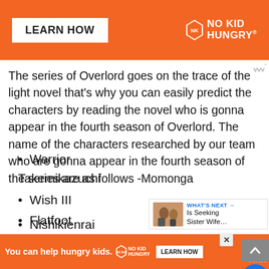[Figure (infographic): Orange banner advertisement for No Kid Hungry with 'LEARN HOW' button and No Kid Hungry logo]
The series of Overlord goes on the trace of the light novel that's why you can easily predict the characters by reading the novel who is gonna appear in the fourth season of Overlord. The name of the characters researched by our team who are gonna appear in the fourth season of the series are as follows -Momonga
Nishikienrai
Touch Me
Warrior Takemikazuchi
Wish III
Flatfoot
[Figure (infographic): Bottom orange advertisement banner for No Kid Hungry: 'You can help hungry kids.' with LEARN HOW button]